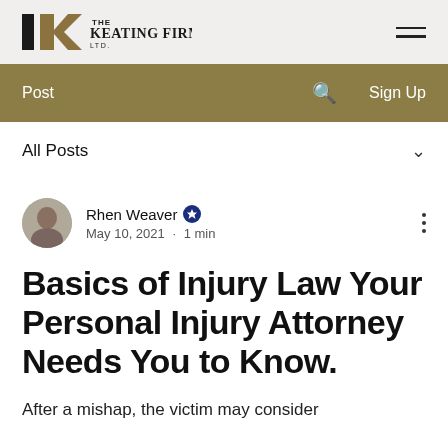[Figure (logo): The Keating Firm Ltd. logo with black K lettermark and firm name in serif font]
Post   🔍   Sign Up
All Posts
Rhen Weaver · May 10, 2021 · 1 min
Basics of Injury Law Your Personal Injury Attorney Needs You to Know.
After a mishap, the victim may consider